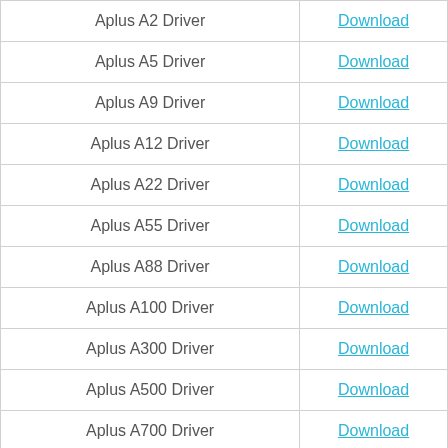| Driver Name | Download |
| --- | --- |
| Aplus A2 Driver | Download |
| Aplus A5 Driver | Download |
| Aplus A9 Driver | Download |
| Aplus A12 Driver | Download |
| Aplus A22 Driver | Download |
| Aplus A55 Driver | Download |
| Aplus A88 Driver | Download |
| Aplus A100 Driver | Download |
| Aplus A300 Driver | Download |
| Aplus A500 Driver | Download |
| Aplus A700 Driver | Download |